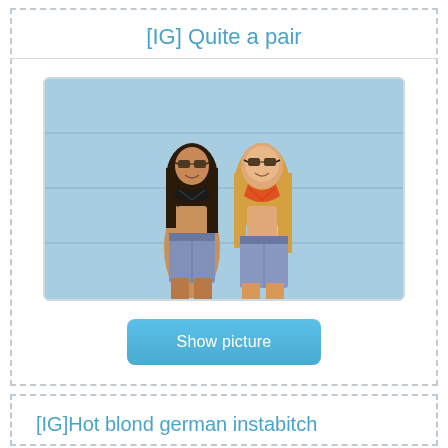[IG] Quite a pair
[Figure (photo): Two young women in bikini tops and denim shorts standing in front of a light blue wall, both wearing sunglasses and smiling]
Show picture
[IG]Hot blond german instabitch